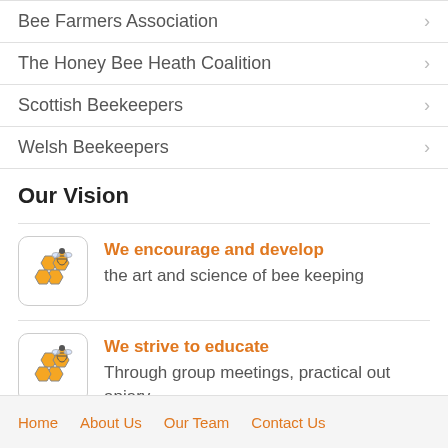Bee Farmers Association
The Honey Bee Heath Coalition
Scottish Beekeepers
Welsh Beekeepers
Our Vision
[Figure (illustration): Honeycomb and bee icon in a rounded square box]
We encourage and develop
the art and science of bee keeping
[Figure (illustration): Honeycomb and bee icon in a rounded square box]
We strive to educate
Through group meetings, practical out apiary events and educational support
Home   About Us   Our Team   Contact Us